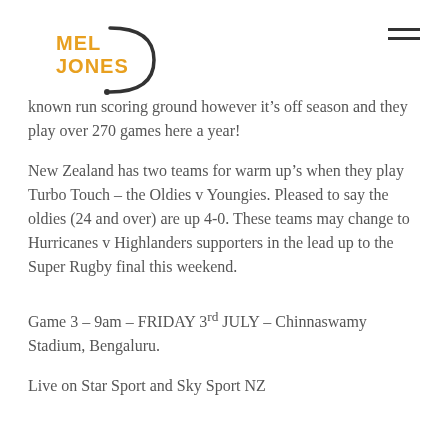MEL JONES
known run scoring ground however it's off season and they play over 270 games here a year!
New Zealand has two teams for warm up's when they play Turbo Touch – the Oldies v Youngies. Pleased to say the oldies (24 and over) are up 4-0. These teams may change to Hurricanes v Highlanders supporters in the lead up to the Super Rugby final this weekend.
Game 3 – 9am – FRIDAY 3rd JULY – Chinnaswamy Stadium, Bengaluru.
Live on Star Sport and Sky Sport NZ